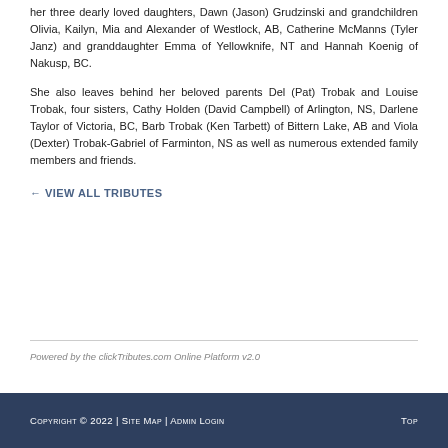Elaine is survived by her devoted husband, Lionel Koenig, her three dearly loved daughters, Dawn (Jason) Grudzinski and grandchildren Olivia, Kailyn, Mia and Alexander of Westlock, AB, Catherine McManns (Tyler Janz) and granddaughter Emma of Yellowknife, NT and Hannah Koenig of Nakusp, BC.
She also leaves behind her beloved parents Del (Pat) Trobak and Louise Trobak, four sisters, Cathy Holden (David Campbell) of Arlington, NS, Darlene Taylor of Victoria, BC, Barb Trobak (Ken Tarbett) of Bittern Lake, AB and Viola (Dexter) Trobak-Gabriel of Farminton, NS as well as numerous extended family members and friends.
← VIEW ALL TRIBUTES
Powered by the clickTributes.com Online Platform v2.0
Copyright © 2022 | Site Map | Admin Login    Top